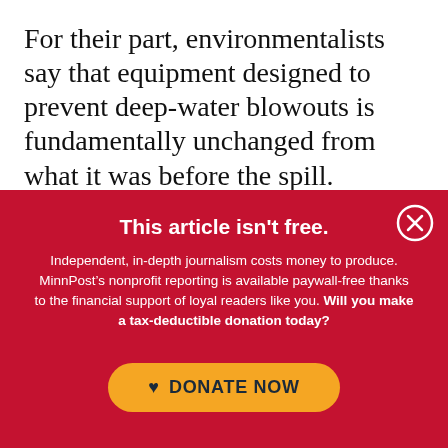For their part, environmentalists say that equipment designed to prevent deep-water blowouts is fundamentally unchanged from what it was before the spill.
“Sadly, it is extremely counterintuitive to
This article isn't free.
Independent, in-depth journalism costs money to produce. MinnPost’s nonprofit reporting is available paywall-free thanks to the financial support of loyal readers like you. Will you make a tax-deductible donation today?
DONATE NOW